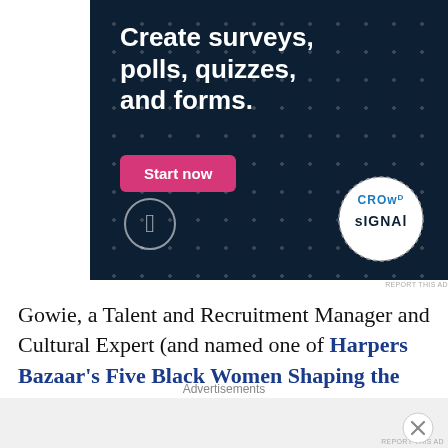[Figure (illustration): Crowdsignal/WordPress advertisement banner with dark navy background and white dot pattern. Headline: 'Create surveys, polls, quizzes, and forms.' Pink 'Start now' button. WordPress logo bottom-left. Crowdsignal logo bottom-right in dotted circle.]
REPORT THIS AD
Gowie, a Talent and Recruitment Manager and Cultural Expert (and named one of Harpers Bazaar's Five Black Women Shaping the Future in 2020) is a working mother of two young Black boys. With the recent “social unrest",
Advertisements
REPORT THIS AD